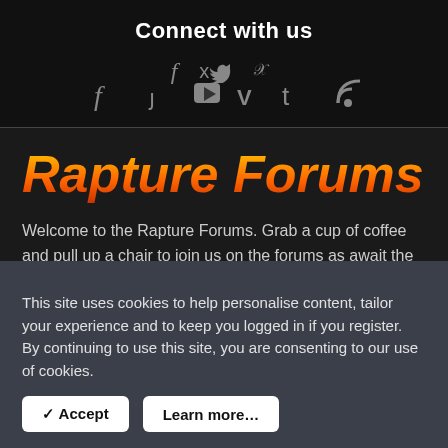Connect with us
[Figure (infographic): Row of 6 social media icons: Facebook (f), Twitter (bird), YouTube (play button), Vimeo (V), Tumblr (t), RSS (signal/wifi icon), displayed in grey on dark background]
Rapture Forums
Welcome to the Rapture Forums. Grab a cup of coffee and pull up a chair to join us on the forums as await the return of Jesus Christ. God bless you!
Online statistics
This site uses cookies to help personalise content, tailor your experience and to keep you logged in if you register.
By continuing to use this site, you are consenting to our use of cookies.